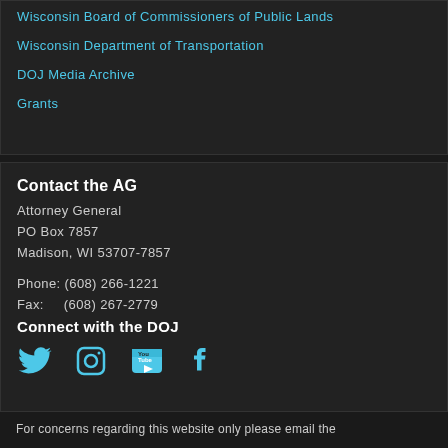Wisconsin Board of Commissioners of Public Lands
Wisconsin Department of Transportation
DOJ Media Archive
Grants
Contact the AG
Attorney General
PO Box 7857
Madison, WI 53707-7857
Phone: (608) 266-1221
Fax:     (608) 267-2779
Connect with the DOJ
[Figure (infographic): Social media icons: Twitter, Instagram, YouTube, Facebook in cyan/blue color]
For concerns regarding this website only please email the